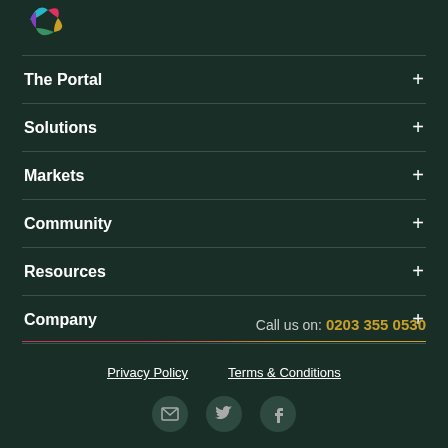[Figure (logo): Colorful pinwheel/fan logo in top left corner]
The Portal +
Solutions +
Markets +
Community +
Resources +
Company +
Call us on: 0203 355 0530
Privacy Policy    Terms & Conditions
[Figure (illustration): Three social media icons (envelope/email, Twitter, Facebook) in circular buttons]